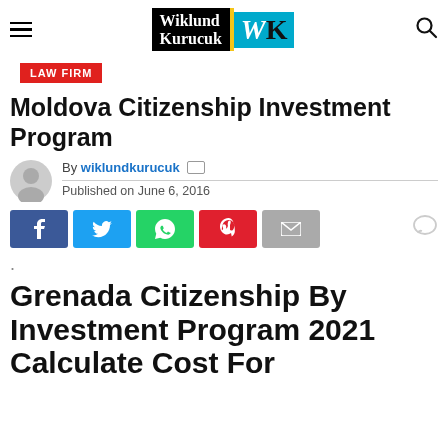[Figure (logo): Wiklund Kurucuk law firm logo with hamburger menu and search icon in header navigation bar]
LAW FIRM
Moldova Citizenship Investment Program
By wiklundkurucuk
Published on June 6, 2016
[Figure (infographic): Social media share buttons: Facebook, Twitter, WhatsApp, Pinterest, Email, and a comment bubble icon]
.
Grenada Citizenship By Investment Program 2021 Calculate Cost For